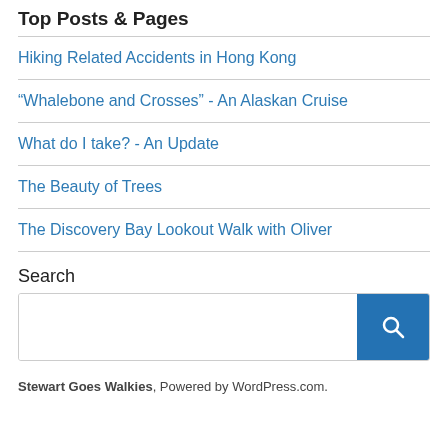Top Posts & Pages
Hiking Related Accidents in Hong Kong
“Whalebone and Crosses” - An Alaskan Cruise
What do I take? - An Update
The Beauty of Trees
The Discovery Bay Lookout Walk with Oliver
Search
Stewart Goes Walkies, Powered by WordPress.com.